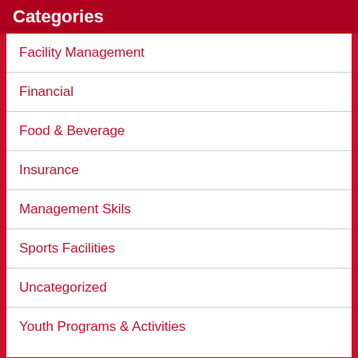Categories
Facility Management
Financial
Food & Beverage
Insurance
Management Skils
Sports Facilities
Uncategorized
Youth Programs & Activities
Archives
August 2022
July 2022